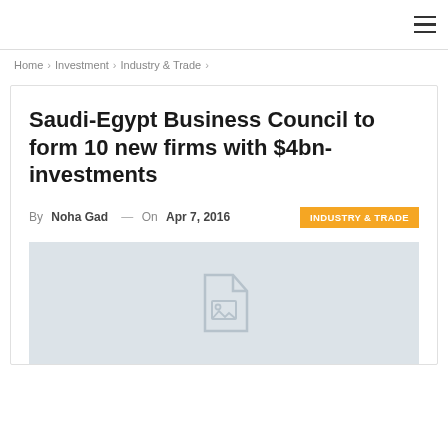≡
Home > Investment > Industry & Trade >
Saudi-Egypt Business Council to form 10 new firms with $4bn-investments
By Noha Gad — On Apr 7, 2016   INDUSTRY & TRADE
[Figure (illustration): Placeholder image with a document/image icon on a light gray background]